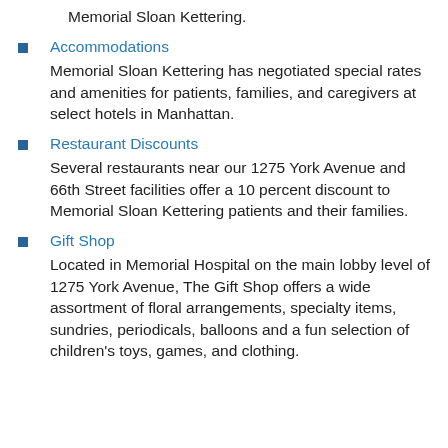Memorial Sloan Kettering.
Accommodations
Memorial Sloan Kettering has negotiated special rates and amenities for patients, families, and caregivers at select hotels in Manhattan.
Restaurant Discounts
Several restaurants near our 1275 York Avenue and 66th Street facilities offer a 10 percent discount to Memorial Sloan Kettering patients and their families.
Gift Shop
Located in Memorial Hospital on the main lobby level of 1275 York Avenue, The Gift Shop offers a wide assortment of floral arrangements, specialty items, sundries, periodicals, balloons and a fun selection of children's toys, games, and clothing.